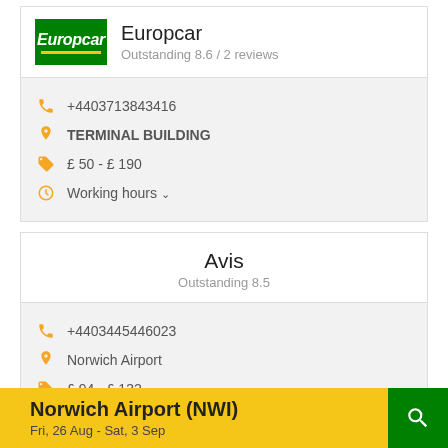[Figure (logo): Europcar logo: green background with white italic text and yellow underline]
Europcar
Outstanding 8.6 / 2 reviews
+4403713843416
TERMINAL BUILDING
£ 50 - £ 190
Working hours ∨
Avis
Outstanding 8.5
+4403445446023
Norwich Airport
£ 94 - £ 132
Working hours ∨
Norwich Airport (NWI) Fri, 26 Aug - Sat, 3 Sep